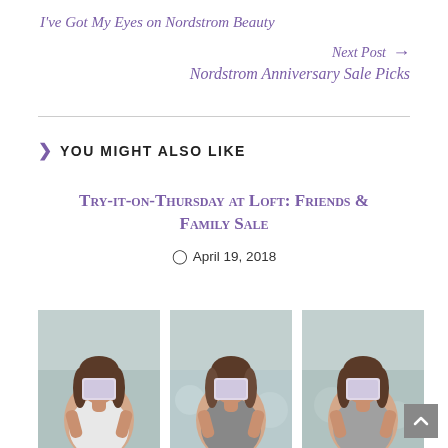I've Got My Eyes on Nordstrom Beauty
Next Post →
Nordstrom Anniversary Sale Picks
❯  YOU MIGHT ALSO LIKE
Try-it-on-Thursday at Loft: Friends & Family Sale
🕐 April 19, 2018
[Figure (photo): Three side-by-side photos of a brunette woman holding a phone up to her face in a mirror selfie, taken in different outfits against a grey/decorated background.]